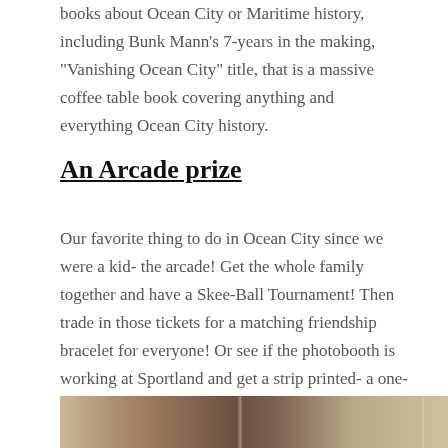books about Ocean City or Maritime history, including Bunk Mann's 7-years in the making, "Vanishing Ocean City" title, that is a massive coffee table book covering anything and everything Ocean City history.
An Arcade prize
Our favorite thing to do in Ocean City since we were a kid- the arcade! Get the whole family together and have a Skee-Ball Tournament! Then trade in those tickets for a matching friendship bracelet for everyone! Or see if the photobooth is working at Sportland and get a strip printed- a one-of-a-kind image to take home!
[Figure (photo): Bottom strip showing a partial photo, appears to be a beach or outdoor scene with warm tones.]